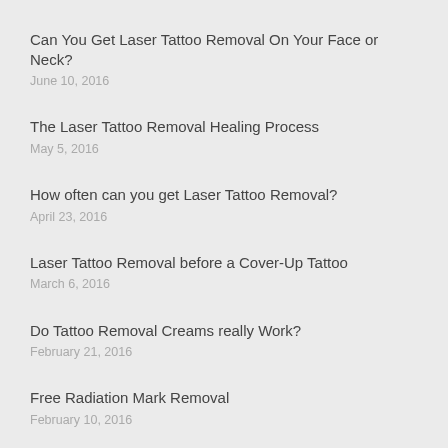Can You Get Laser Tattoo Removal On Your Face or Neck?
June 10, 2016
The Laser Tattoo Removal Healing Process
May 5, 2016
How often can you get Laser Tattoo Removal?
April 23, 2016
Laser Tattoo Removal before a Cover-Up Tattoo
March 6, 2016
Do Tattoo Removal Creams really Work?
February 21, 2016
Free Radiation Mark Removal
February 10, 2016
Laser Tattoo Removal on Dark or Black Skin
February 5, 2016